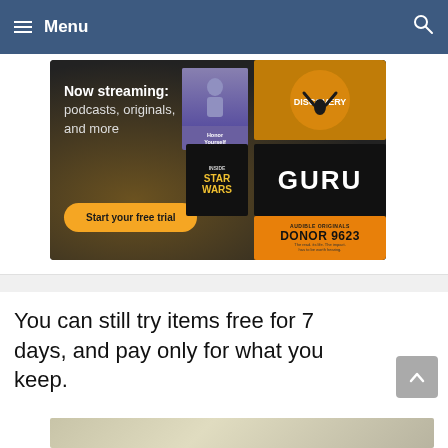≡ Menu
[Figure (screenshot): Audible streaming advertisement banner showing 'Now streaming: podcasts, originals, and more' with a 'Start your free trial' orange button and podcast cover art including Honor Yourself, GURU, Inside Star Wars, and DONOR 9623]
You can still try items free for 7 days, and pay only for what you keep.
[Figure (photo): Partial view of a book or product image at the bottom of the page]